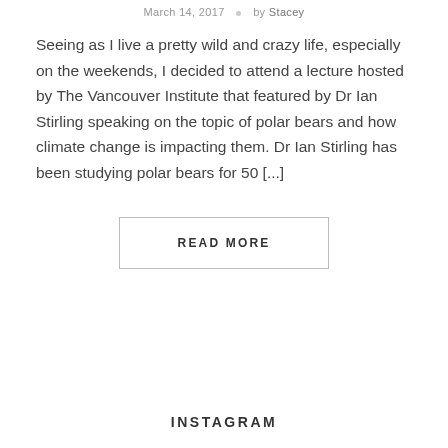March 14, 2017 · by Stacey
Seeing as I live a pretty wild and crazy life, especially on the weekends, I decided to attend a lecture hosted by The Vancouver Institute that featured by Dr Ian Stirling speaking on the topic of polar bears and how climate change is impacting them. Dr Ian Stirling has been studying polar bears for 50 [...]
READ MORE
INSTAGRAM